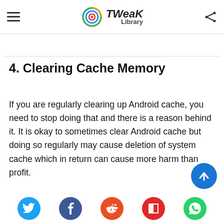Tweak Library
4. Clearing Cache Memory
If you are regularly clearing up Android cache, you need to stop doing that and there is a reason behind it. It is okay to sometimes clear Android cache but doing so regularly may cause deletion of system cache which in return can cause more harm than profit.
Social share buttons: Twitter, Facebook, Reddit, Flipboard, WhatsApp